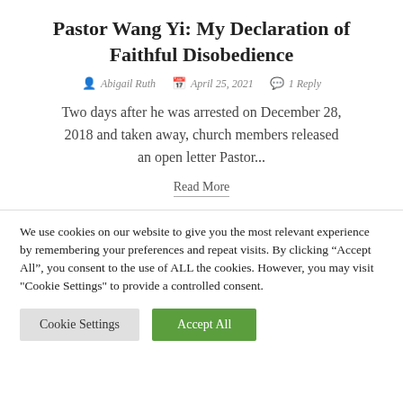Pastor Wang Yi: My Declaration of Faithful Disobedience
Abigail Ruth   April 25, 2021   1 Reply
Two days after he was arrested on December 28, 2018 and taken away, church members released an open letter Pastor...
Read More
We use cookies on our website to give you the most relevant experience by remembering your preferences and repeat visits. By clicking "Accept All", you consent to the use of ALL the cookies. However, you may visit "Cookie Settings" to provide a controlled consent.
Cookie Settings   Accept All